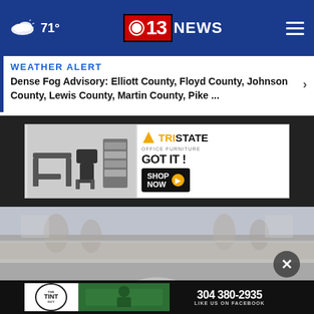71° — CBS 13 NEWS
WEATHER ALERT
Dense Fog Advisory: Elliott County, Floyd County, Johnson County, Lewis County, Martin County, Pike ...
[Figure (screenshot): Tri State Office Furniture advertisement banner: furniture images on left, logo with triangle and text 'TRI STATE OFFICE FURNITURE GOT IT!' and 'SHOP NOW' button with arrow on right]
[Figure (photo): Blurred photo of ornate courthouse or government building exterior with carved stone architectural details and arched window]
[Figure (screenshot): The Tint Guy advertisement banner with logo circle, green car tinting image, phone number 304 380-2935, and 'LIKE US ON FACEBOOK' text]